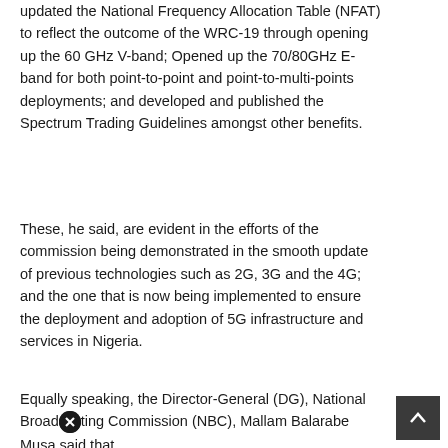updated the National Frequency Allocation Table (NFAT) to reflect the outcome of the WRC-19 through opening up the 60 GHz V-band; Opened up the 70/80GHz E-band for both point-to-point and point-to-multi-points deployments; and developed and published the Spectrum Trading Guidelines amongst other benefits.
These, he said, are evident in the efforts of the commission being demonstrated in the smooth update of previous technologies such as 2G, 3G and the 4G; and the one that is now being implemented to ensure the deployment and adoption of 5G infrastructure and services in Nigeria.
Equally speaking, the Director-General (DG), National Broadcasting Commission (NBC), Mallam Balarabe Musa said that